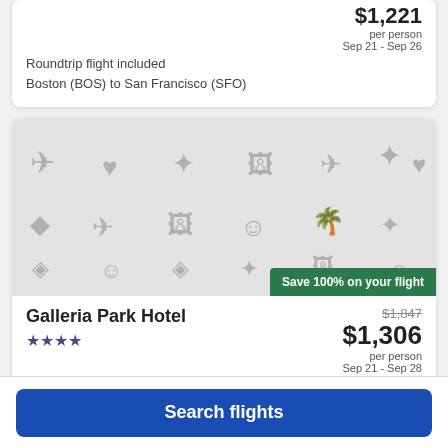per person
Sep 21 - Sep 26
Roundtrip flight included
Boston (BOS) to San Francisco (SFO)
[Figure (illustration): Hotel image placeholder with travel icons pattern on gray background, with green 'Save 100% on your flight' badge in bottom right]
Galleria Park Hotel
★★★★
$1,847 (strikethrough) $1,306 per person Sep 21 - Sep 28
Roundtrip non-stop flight included
Search flights